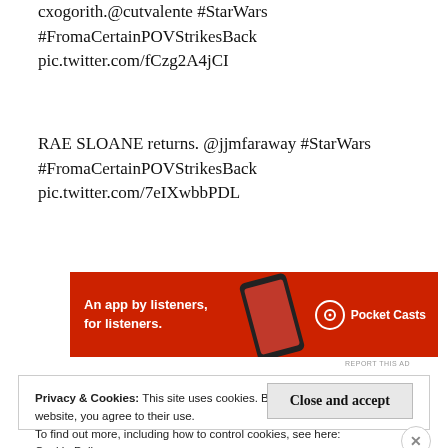cxogorith.@cutvalente #StarWars #FromaCertainPOVStrikesBack pic.twitter.com/fCzg2A4jCI
RAE SLOANE returns. @jjmfaraway #StarWars #FromaCertainPOVStrikesBack pic.twitter.com/7eIXwbbPDL
[Figure (infographic): Pocket Casts advertisement banner. Red background with text 'An app by listeners, for listeners.' and a phone graphic, with Pocket Casts logo.]
REPORT THIS AD
Privacy & Cookies: This site uses cookies. By continuing to use this website, you agree to their use.
To find out more, including how to control cookies, see here:
Cookie Policy
Close and accept